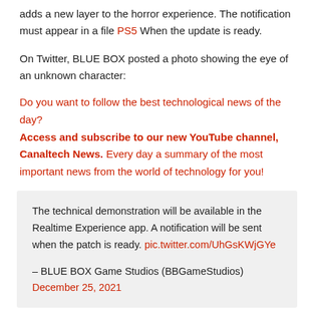adds a new layer to the horror experience. The notification must appear in a file PS5 When the update is ready.
On Twitter, BLUE BOX posted a photo showing the eye of an unknown character:
Do you want to follow the best technological news of the day? Access and subscribe to our new YouTube channel, Canaltech News. Every day a summary of the most important news from the world of technology for you!
The technical demonstration will be available in the Realtime Experience app. A notification will be sent when the patch is ready. pic.twitter.com/UhGsKWjGYe
– BLUE BOX Game Studios (BBGameStudios) December 25, 2021